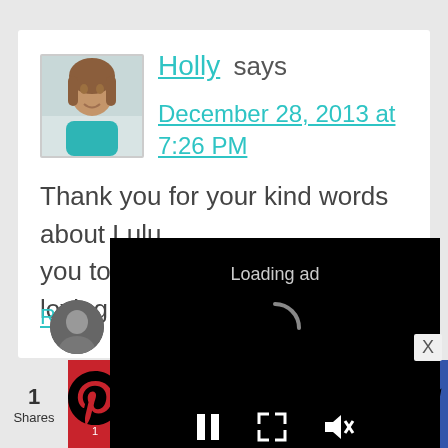[Figure (photo): Profile photo of Holly, a woman with long brown hair wearing a teal top]
Holly says
December 28, 2013 at 7:26 PM
Thank you for your kind words about Lulu... you too Li... loving po...
Reply
[Figure (screenshot): Video ad overlay showing 'Loading ad' text with spinner and playback controls (pause, fullscreen, mute) on black background]
[Figure (infographic): Social share bar at bottom with count '1 Shares' and buttons for Pinterest (1), Facebook, Twitter, Reddit, LinkedIn, Email, Crown]